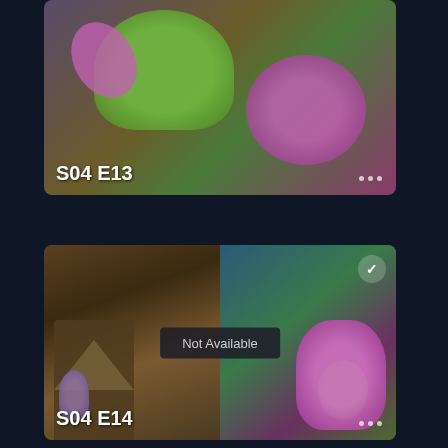[Figure (screenshot): TV show episode thumbnail for S04 E13, showing Barney the purple dinosaur with green belly, close-up view against stone wall background]
S04 E13
[Figure (screenshot): TV show episode thumbnail for S04 E14, showing split view of treehouse scene on left with Baby Bop and Barney the purple dinosaur on right in outdoor setting. Overlay shows 'Not Available' message and checkmark badge.]
Not Available
S04 E14